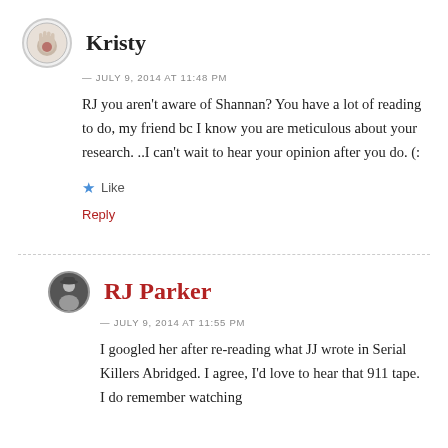Kristy
— JULY 9, 2014 AT 11:48 PM
RJ you aren't aware of Shannan? You have a lot of reading to do, my friend bc I know you are meticulous about your research. ..I can't wait to hear your opinion after you do. (:
Like
Reply
RJ Parker
— JULY 9, 2014 AT 11:55 PM
I googled her after re-reading what JJ wrote in Serial Killers Abridged. I agree, I'd love to hear that 911 tape. I do remember watching